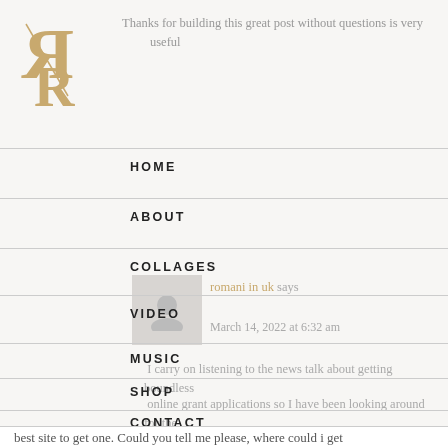[Figure (logo): Stylized double-R logo in gold/tan on white background]
Thanks for building this great post without questions is very useful
HOME
ABOUT
COLLAGES
romani in uk says
VIDEO
March 14, 2022 at 6:32 am
MUSIC
I carry on listening to the news talk about getting boundless
SHOP
online grant applications so I have been looking around for the
CONTACT
best site to get one. Could you tell me please, where could i get some?